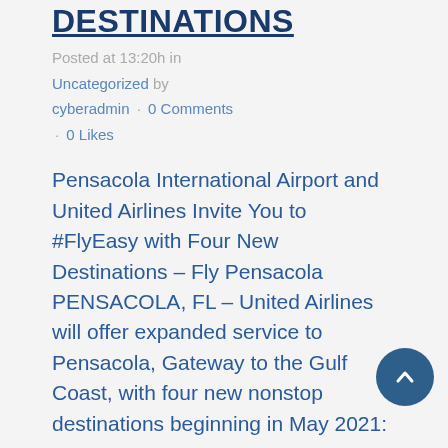DESTINATIONS
Posted at 13:20h in Uncategorized by cyberadmin · 0 Comments · 0 Likes
Pensacola International Airport and United Airlines Invite You to #FlyEasy with Four New Destinations – Fly Pensacola PENSACOLA, FL – United Airlines will offer expanded service to Pensacola, Gateway to the Gulf Coast, with four new nonstop destinations beginning in May 2021: